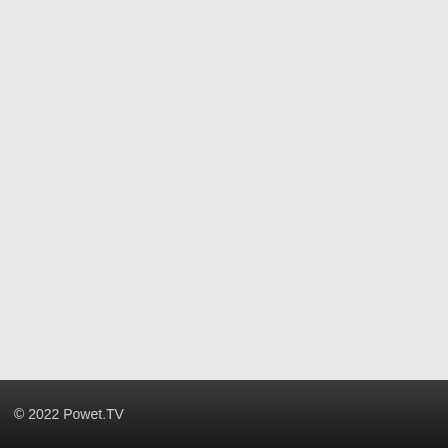Famicom F...
by Sean "The..."
It's hard for the everything that failure to expos Confessional, W should have pla games we love
C...
iTunes
Pokemon
Listen to Poker http://famicomc
[Read the rest
Tags: Conker's Pokemon, PS2
14 Comme...
« Older Entries
© 2022 Powet.TV